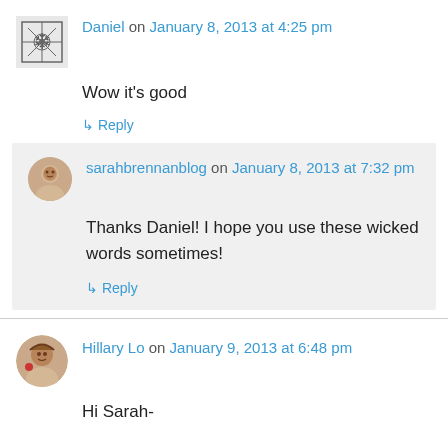Daniel on January 8, 2013 at 4:25 pm
Wow it's good
↳ Reply
sarahbrennanblog on January 8, 2013 at 7:32 pm
Thanks Daniel! I hope you use these wicked words sometimes!
↳ Reply
Hillary Lo on January 9, 2013 at 6:48 pm
Hi Sarah-